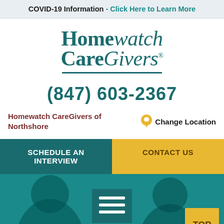COVID-19 Information - Click Here to Learn More
[Figure (logo): Homewatch CareGivers logo in teal serif/script font with underline]
(847) 603-2367
Homewatch CareGivers of Northshore
Change Location
SCHEDULE AN INTERVIEW
CONTACT US
[Figure (photo): Two smiling women with teal color overlay, hamburger menu icon in center, TOP button at bottom right]